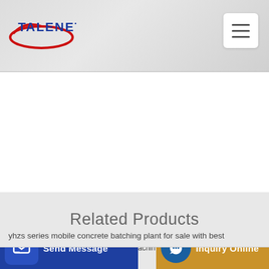TALENET
[Figure (logo): Talenet company logo with red ellipse and blue text]
Related Products
yhzs series mobile concrete batching plant for sale with best
1096 crown 10s towable mortar mixer kpconcreteringsaw
achin
Send Message | Inquiry Online